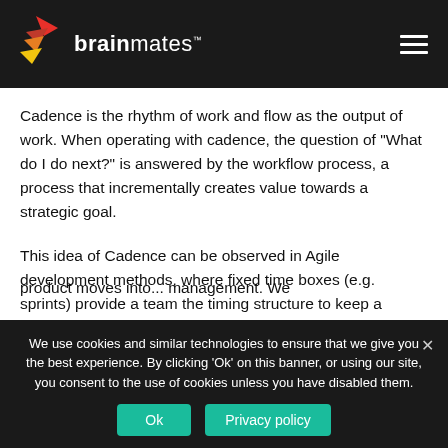brainmates
Cadence is the rhythm of work and flow as the output of work. When operating with cadence, the question of "What do I do next?" is answered by the workflow process, a process that incrementally creates value towards a strategic goal.
This idea of Cadence can be observed in Agile development methods, where fixed time boxes (e.g. sprints) provide a team the timing structure to keep a product/project moving
product moves into...management. We
We use cookies and similar technologies to ensure that we give you the best experience. By clicking 'Ok' on this banner, or using our site, you consent to the use of cookies unless you have disabled them.